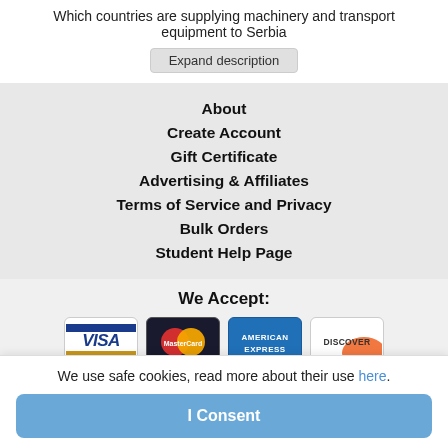Which countries are supplying machinery and transport equipment to Serbia
Expand description
About
Create Account
Gift Certificate
Advertising & Affiliates
Terms of Service and Privacy
Bulk Orders
Student Help Page
We Accept:
[Figure (illustration): Payment method logos: Visa, MasterCard, American Express, Discover]
Copyright © 2022 Akademos Inc.
We use safe cookies, read more about their use here.
I Consent